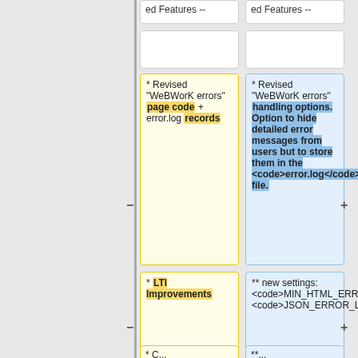ed Features --
ed Features --
* Revised "WeBWorK errors" page code + error.log records
* Revised "WeBWorK errors" handling options. Option to hide detailed error messages from users but to store them in the <code>error.log</code> file.
* LTI Improvements
** new settings: <code>MIN_HTML_ERRORS</code> <code>JSON_ERROR_LOG</code>